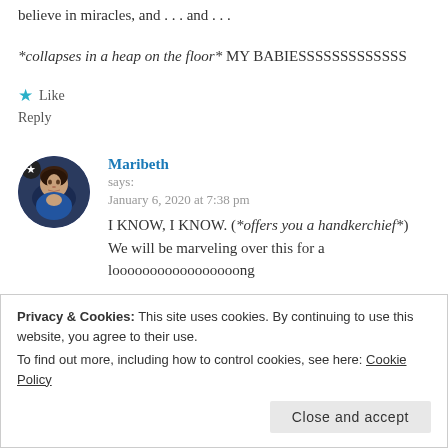believe in miracles, and . . . and . . .
*collapses in a heap on the floor* MY BABIESSSSSSSSSSSSS
★ Like
Reply
[Figure (photo): Circular avatar photo of Maribeth, a woman with dark hair, smiling, wearing a blue top. Small star badge in top-left of avatar.]
Maribeth says:
January 6, 2020 at 7:38 pm
I KNOW, I KNOW. (*offers you a handkerchief*) We will be marveling over this for a looooooooooooooooong
Privacy & Cookies: This site uses cookies. By continuing to use this website, you agree to their use.
To find out more, including how to control cookies, see here: Cookie Policy
Close and accept